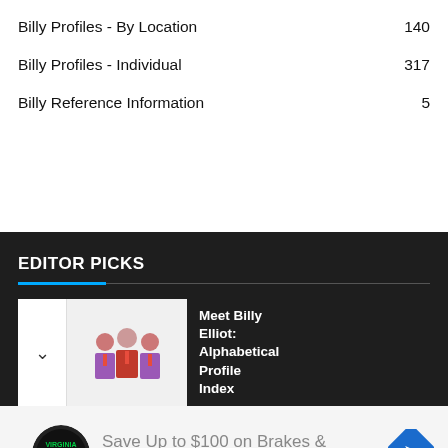Billy Profiles - By Location   140
Billy Profiles - Individual   317
Billy Reference Information   5
EDITOR PICKS
Meet Billy Elliot: Alphabetical Profile Index
Save Up to $100 on Brakes & Rotors at Virginia Tire & Auto